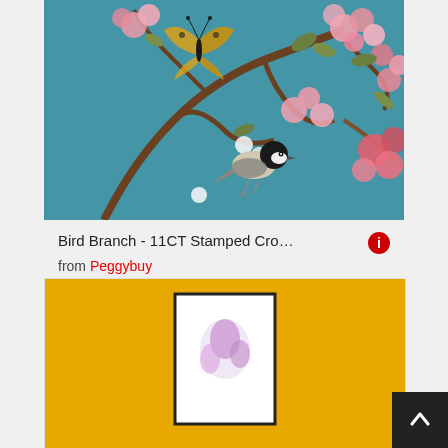[Figure (photo): Painting of a bird perched on a cherry blossom branch with pink flowers, a butterfly, and a teal blue background]
Bird Branch - 11CT Stamped Cro…
from Peggybuy
found at Peggybuy
15.99 $
Shipping costs: 0.00 $
[Figure (photo): Partial view of a second product card with a yellow/gold background showing a framed cross-stitch or embroidery artwork]